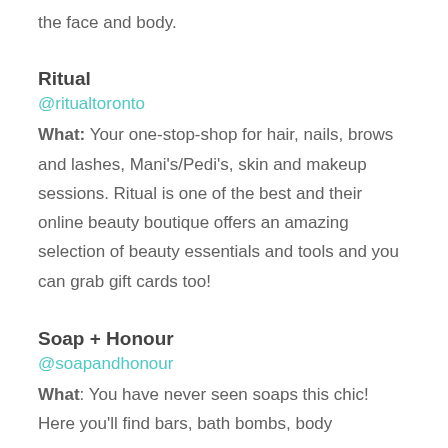the face and body.
Ritual
@ritualtoronto
What: Your one-stop-shop for hair, nails, brows and lashes, Mani's/Pedi's, skin and makeup sessions. Ritual is one of the best and their online beauty boutique offers an amazing selection of beauty essentials and tools and you can grab gift cards too!
Soap + Honour
@soapandhonour
What: You have never seen soaps this chic! Here you'll find bars, bath bombs, body